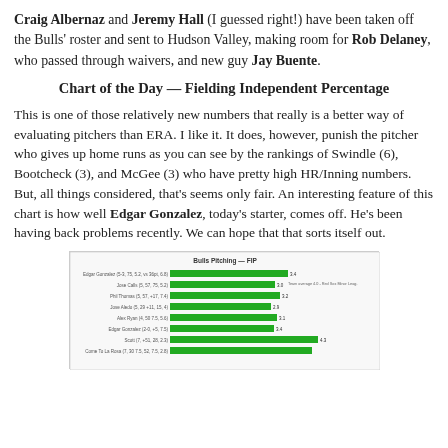Craig Albernaz and Jeremy Hall (I guessed right!) have been taken off the Bulls' roster and sent to Hudson Valley, making room for Rob Delaney, who passed through waivers, and new guy Jay Buente.
Chart of the Day — Fielding Independent Percentage
This is one of those relatively new numbers that really is a better way of evaluating pitchers than ERA. I like it. It does, however, punish the pitcher who gives up home runs as you can see by the rankings of Swindle (6), Bootcheck (3), and McGee (3) who have pretty high HR/Inning numbers. But, all things considered, that's seems only fair. An interesting feature of this chart is how well Edgar Gonzalez, today's starter, comes off. He's been having back problems recently. We can hope that that sorts itself out.
[Figure (bar-chart): Horizontal bar chart showing FIP (Fielding Independent Percentage) for Bulls pitchers with green bars. Player names and stats listed on left axis.]